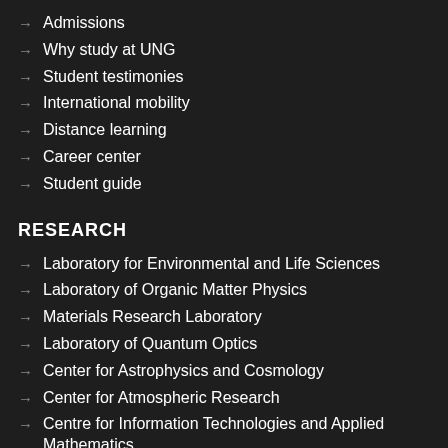→ Admissions
→ Why study at UNG
→ Student testimonies
→ International mobility
→ Distance learning
→ Career center
→ Student guide
RESEARCH
→ Laboratory for Environmental and Life Sciences
→ Laboratory of Organic Matter Physics
→ Materials Research Laboratory
→ Laboratory of Quantum Optics
→ Center for Astrophysics and Cosmology
→ Center for Atmospheric Research
→ Centre for Information Technologies and Applied Mathematics
→ Wine Research Centre
→ Research Centre for Humanities